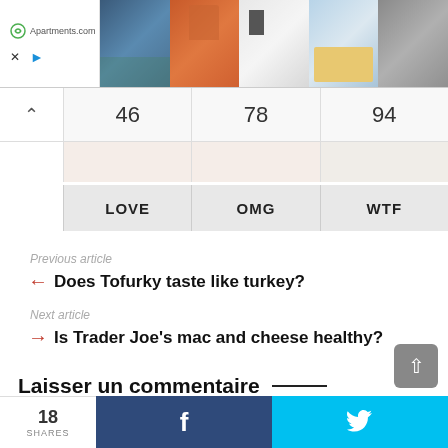[Figure (screenshot): Apartments.com advertisement banner with logo on left and apartment/building photos on right]
46   78   94
LOVE   OMG   WTF
Previous article
← Does Tofurky taste like turkey?
Next article
→ Is Trader Joe's mac and cheese healthy?
Laisser un commentaire —
18 SHARES  f  🐦